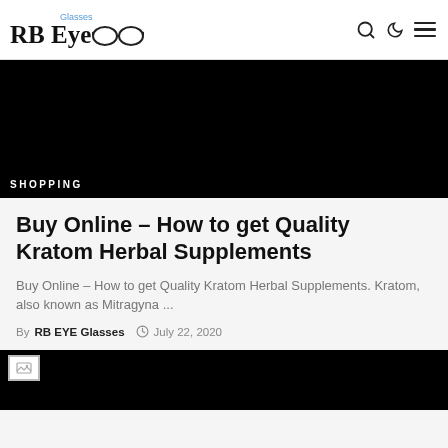RB Eye Glasses
[Figure (photo): Black hero image with SHOPPING label at bottom left]
Buy Online – How to get Quality Kratom Herbal Supplements
Buy Online – How to get Quality Kratom Herbal Supplements. Kratom, also known as Mitragyna ...
By RB EYE Glasses  July 22, 2020
[Figure (photo): Black image with broken image icon at top left]